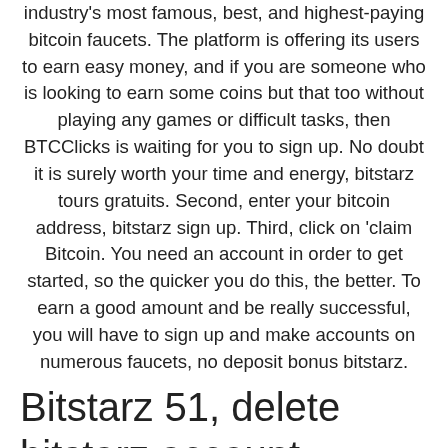industry's most famous, best, and highest-paying bitcoin faucets. The platform is offering its users to earn easy money, and if you are someone who is looking to earn some coins but that too without playing any games or difficult tasks, then BTCClicks is waiting for you to sign up. No doubt it is surely worth your time and energy, bitstarz tours gratuits. Second, enter your bitcoin address, bitstarz sign up. Third, click on 'claim Bitcoin. You need an account in order to get started, so the quicker you do this, the better. To earn a good amount and be really successful, you will have to sign up and make accounts on numerous faucets, no deposit bonus bitstarz.
Bitstarz 51, delete bitstarz account
Best Free Ethereum 'ETH' Faucets. Best Tron 'TRX' Faucets, bitstarz freispiele 30. Best Eos 'EOS' Faucets. The premium